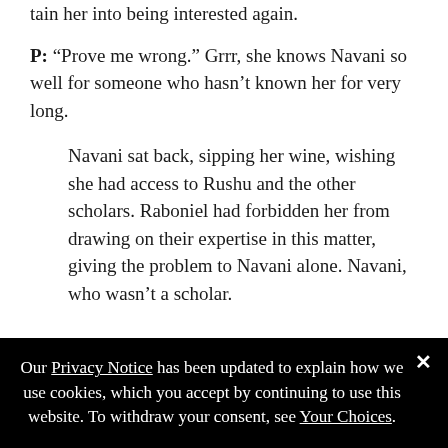tain her into being interested again.
P: “Prove me wrong.” Grrr, she knows Navani so well for someone who hasn’t known her for very long.
Navani sat back, sipping her wine, wishing she had access to Rushu and the other scholars. Raboniel had forbidden her from drawing on their expertise in this matter, giving the problem to Navani alone. Navani, who wasn’t a scholar.
A: And again with the doubt. You have to wonder what difference it would have made to have Rushu involved, right?
P: Soni...did some damage to this mess...you...didn’t
Our Privacy Notice has been updated to explain how we use cookies, which you accept by continuing to use this website. To withdraw your consent, see Your Choices.